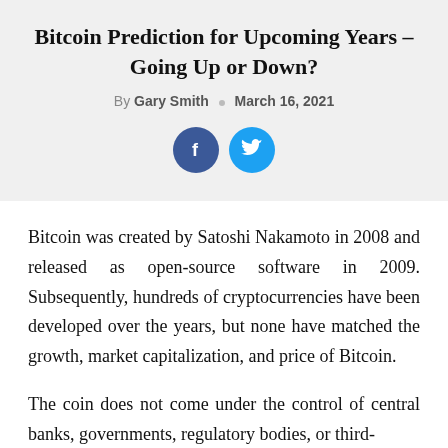Bitcoin Prediction for Upcoming Years – Going Up or Down?
By Gary Smith  ○  March 16, 2021
[Figure (infographic): Two social share buttons: Facebook (dark blue circle with 'f') and Twitter (light blue circle with bird icon)]
Bitcoin was created by Satoshi Nakamoto in 2008 and released as open-source software in 2009. Subsequently, hundreds of cryptocurrencies have been developed over the years, but none have matched the growth, market capitalization, and price of Bitcoin.
The coin does not come under the control of central banks, governments, regulatory bodies, or third-